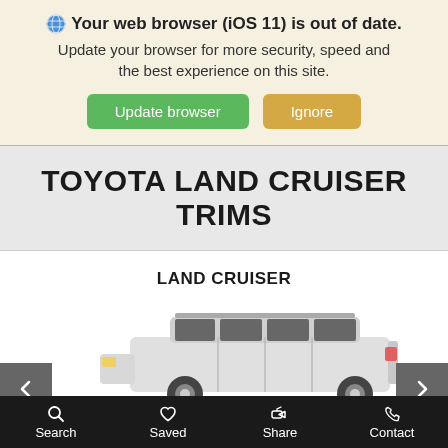🌐 Your web browser (iOS 11) is out of date. Update your browser for more security, speed and the best experience on this site.
Update browser | Ignore
TOYOTA LAND CRUISER TRIMS
LAND CRUISER
[Figure (photo): Side view of a white Toyota Land Cruiser SUV with left and right navigation arrows]
Search  Saved  Share  Contact